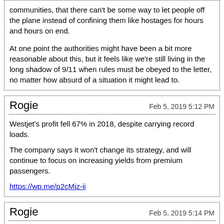communities, that there can't be some way to let people off the plane instead of confining them like hostages for hours and hours on end.

At one point the authorities might have been a bit more reasonable about this, but it feels like we're still living in the long shadow of 9/11 when rules must be obeyed to the letter, no matter how absurd of a situation it might lead to.
Rogie | Feb 5, 2019 5:12 PM

Westjet's profit fell 67% in 2018, despite carrying record loads.

The company says it won't change its strategy, and will continue to focus on increasing yields from premium passengers.

https://wp.me/p2cMjz-ii
Rogie | Feb 5, 2019 5:14 PM

Quote:
Originally Posted by wave46 (Post 8461346)
Some of the popularity of props is due to YTZ's restrictions on jet aircraft.

The economics of props is superior to regional jets, especially